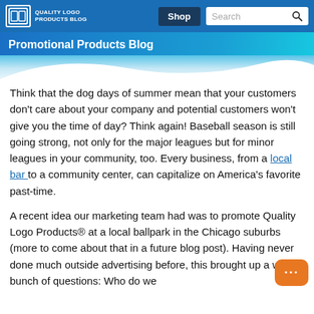Quality Logo Products Blog | Shop | Search
Promotional Products Blog
Think that the dog days of summer mean that your customers don't care about your company and potential customers won't give you the time of day? Think again! Baseball season is still going strong, not only for the major leagues but for minor leagues in your community, too. Every business, from a local bar to a community center, can capitalize on America's favorite past-time.
A recent idea our marketing team had was to promote Quality Logo Products® at a local ballpark in the Chicago suburbs (more to come about that in a future blog post). Having never done much outside advertising before, this brought up a whole bunch of questions: Who do we